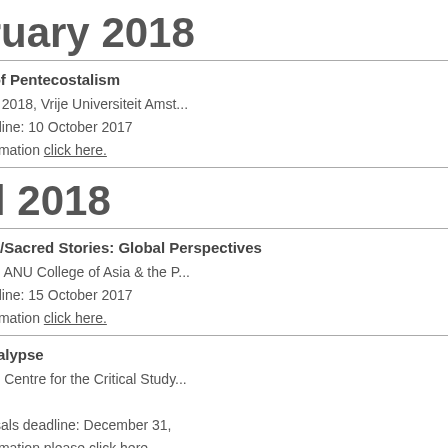February 2018
The Future of Pentecostalism
9-10 February 2018, Vrije Universiteit Amsterdam
Abstract Deadline: 10 October 2017
For more information click here.
April 2018
Sacred Sites/Sacred Stories: Global Perspectives
5-7 April 2018, ANU College of Asia & the Pacific
Abstract Deadline: 15 October 2017
For more information click here.
AI and Apocalypse
5-6 April 2018, Centre for the Critical Study of Apocalyptic and Millenarian Movements (CenSAMM)
Call for proposals deadline: December 31,
For more information please click here.
'Emergent Religious Pluralism(s)